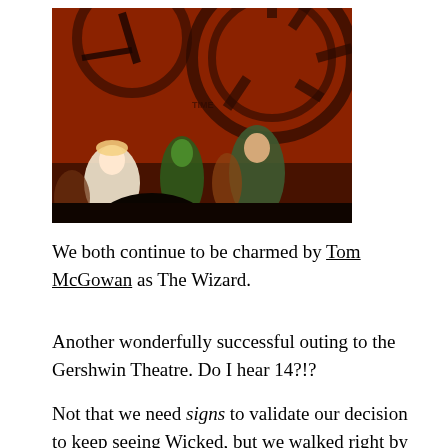[Figure (photo): Stage photo from the musical Wicked showing performers in costume on stage, including a performer in a white dress (Glinda), a performer painted green (Elphaba), and others, with a large gear/clock backdrop in red and black.]
We both continue to be charmed by Tom McGowan as The Wizard.
Another wonderfully successful outing to the Gershwin Theatre. Do I hear 14?!?
Not that we need signs to validate our decision to keep seeing Wicked, but we walked right by this place on way home from the theater. 😜